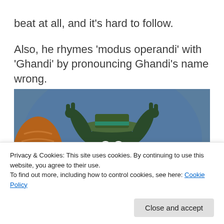beat at all, and it's hard to follow.

Also, he rhymes 'modus operandi' with 'Ghandi' by pronouncing Ghandi's name wrong.
[Figure (screenshot): Animated movie still showing a dark green creature character wearing a hat with its arms raised, in front of a blue background. A red cone and what appears to be an orange/red object are partially visible on the sides.]
Privacy & Cookies: This site uses cookies. By continuing to use this website, you agree to their use.
To find out more, including how to control cookies, see here: Cookie Policy
Close and accept